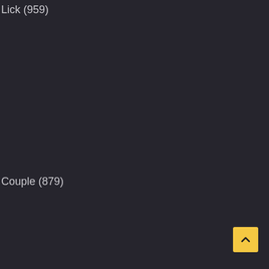Lick (959)
Couple (879)
[Figure (other): Yellow scroll-to-top button with upward chevron/caret arrow icon in bottom-right corner]